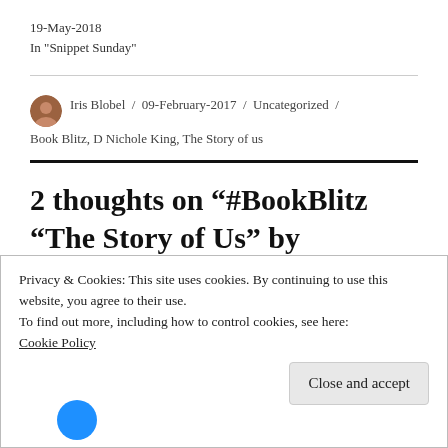19-May-2018
In "Snippet Sunday"
Iris Blobel / 09-February-2017 / Uncategorized / Book Blitz, D Nichole King, The Story of us
2 thoughts on “#BookBlitz “The Story of Us” by
Privacy & Cookies: This site uses cookies. By continuing to use this website, you agree to their use.
To find out more, including how to control cookies, see here:
Cookie Policy
Close and accept